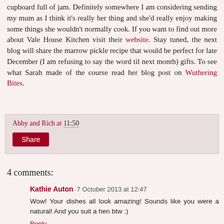cupboard full of jam. Definitely somewhere I am considering sending my mum as I think it's really her thing and she'd really enjoy making some things she wouldn't normally cook. If you want to find out more about Vale House Kitchen visit their website. Stay tuned, the next blog will share the marrow pickle recipe that would be perfect for late December (I am refusing to say the word til next month) gifts. To see what Sarah made of the course read her blog post on Wuthering Bites.
Abby and Rich at 11:50
Share
4 comments:
Kathie Auton 7 October 2013 at 12:47
Wow! Your dishes all look amazing! Sounds like you were a natural! And you suit a hen btw :)
Reply